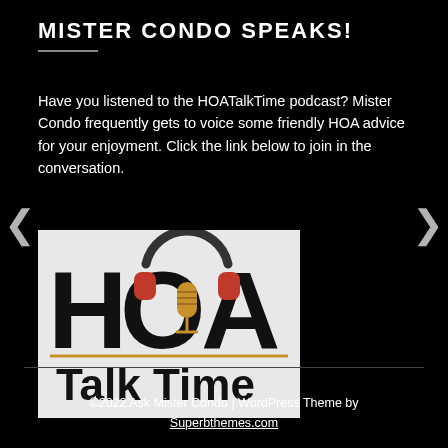MISTER CONDO SPEAKS!
Have you listened to the HOATalkTime podcast? Mister Condo frequently gets to voice some friendly HOA advice for your enjoyment. Click the link below to join in the conversation.
[Figure (logo): HOA Talk Time podcast logo — large black letters H, O, A with red headphones over the O and a gold microphone, white/light gray background, 'Talk Time' in bold black text below]
©2022 Ask Mister Condo | WordPress Theme by Superbthemes.com